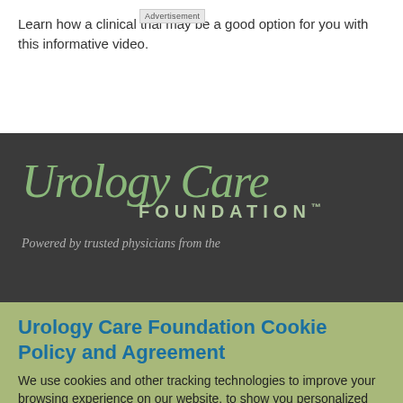Learn how a clinical trial may be a good option for you with this informative video.
[Figure (logo): Urology Care Foundation logo — italic serif green text 'Urology Care' with 'FOUNDATION™' in spaced caps below, on dark background]
Powered by trusted physicians from the
Urology Care Foundation Cookie Policy and Agreement
We use cookies and other tracking technologies to improve your browsing experience on our website, to show you personalized content and targeted ads, to